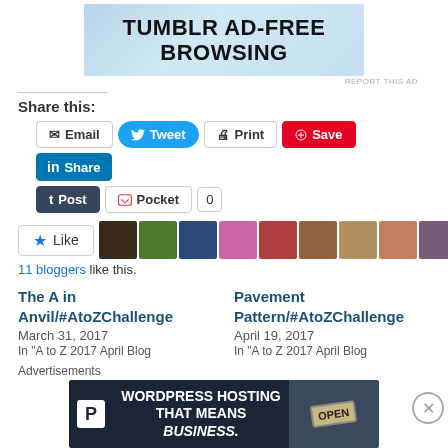[Figure (illustration): Tumblr Ad-Free Browsing advertisement banner with blue gradient background]
REPORT THIS AD
Share this:
[Figure (screenshot): Social sharing buttons: Email, Tweet, Print, Save, Share, Post, Pocket, 0]
[Figure (screenshot): Like button with star icon and 11 blogger avatar thumbnails]
11 bloggers like this.
The A in Anvil/#AtoZChallenge
March 31, 2017
In "A to Z 2017 April Blog
Pavement Pattern/#AtoZChallenge
April 19, 2017
In "A to Z 2017 April Blog
Advertisements
[Figure (illustration): WordPress Hosting That Means Business advertisement banner with dark blue background and OPEN sign photo]